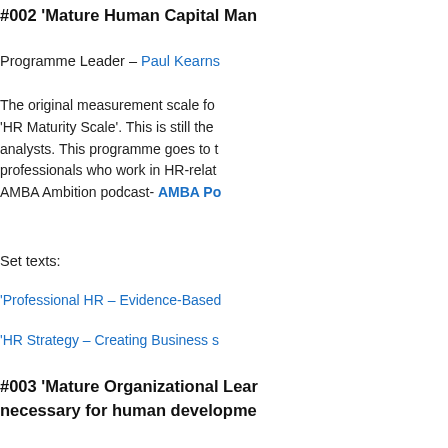#002 ‘Mature Human Capital Man
Programme Leader – Paul Kearns
The original measurement scale fo 'HR Maturity Scale'. This is still the analysts. This programme goes to t professionals who work in HR-relat AMBA Ambition podcast- AMBA Po
Set texts:
‘Professional HR – Evidence-Based
‘HR Strategy – Creating Business s
#003 ‘Mature Organizational Lear necessary for human developme
Programme Leader – Stanislav Tick
The essence of maturity is in an org the necessary building blocks for a learning is linked directly to value o A version of this programme alread the Prague University of Economics